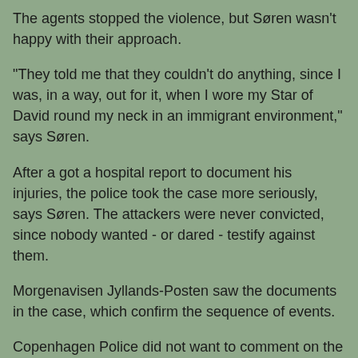The agents stopped the violence, but Søren wasn't happy with their approach.
"They told me that they couldn't do anything, since I was, in a way, out for it, when I wore my Star of David round my neck in an immigrant environment," says Søren.
After a got a hospital report to document his injuries, the police took the case more seriously, says Søren. The attackers were never convicted, since nobody wanted - or dared - testify against them.
Morgenavisen Jyllands-Posten saw the documents in the case, which confirm the sequence of events.
Copenhagen Police did not want to comment on the case.
"It's almost dangerous to go with something that can identify you as a Jew. I'm not the only one - Jew's kippah are regularly spit on," says Søren, that after this unpleasant experience removed everything which can identify him as a Jew.